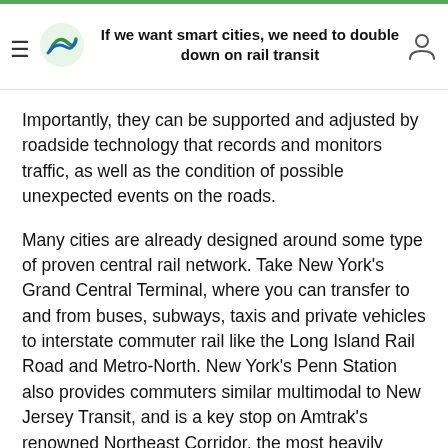If we want smart cities, we need to double down on rail transit
Importantly, they can be supported and adjusted by roadside technology that records and monitors traffic, as well as the condition of possible unexpected events on the roads.
Many cities are already designed around some type of proven central rail network. Take New York’s Grand Central Terminal, where you can transfer to and from buses, subways, taxis and private vehicles to interstate commuter rail like the Long Island Rail Road and Metro-North. New York’s Penn Station also provides commuters similar multimodal to New Jersey Transit, and is a key stop on Amtrak’s renowned Northeast Corridor, the most heavily traveled rail route in the country joining major metropolitan areas between Boston and Washington, D.C.